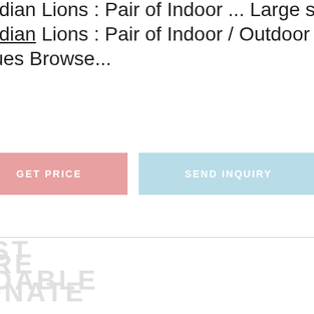uardian Lions : Pair of Indoor ... Large set of Foo Dogs - uardian Lions : Pair of Indoor / Outdoor / Garden tatues Browse...
GET PRICE
SEND INQUIRY
ARE
IONATE
EST
NDABLE